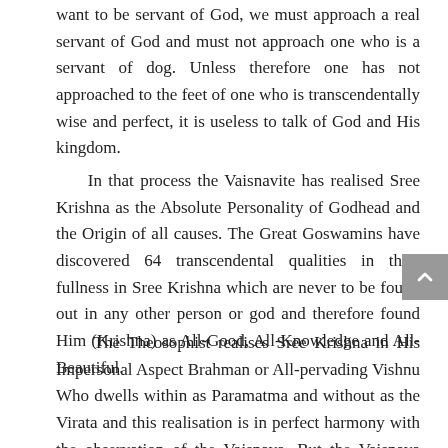want to be servant of God, we must approach a real servant of God and must not approach one who is a servant of dog. Unless therefore one has not approached to the feet of one who is transcendentally wise and perfect, it is useless to talk of God and His kingdom.
In that process the Vaisnavite has realised Sree Krishna as the Absolute Personality of Godhead and the Origin of all causes. The Great Goswamins have discovered 64 transcendental qualities in their fullness in Sree Krishna which are never to be found out in any other person or god and therefore found Him (Krishna) as All-Good, All-Knowledge and All-Beautiful.
The Theosophist realises Sree Krishna in His Impersonal Aspect Brahman or All-pervading Vishnu Who dwells within as Paramatma and without as the Virata and this realisation is in perfect harmony with the observation of the Vaisnava. But the Vaisnava goes still deeper and sees Him as the Personality of Godhead "Bhagwan." The all-pervading aspect